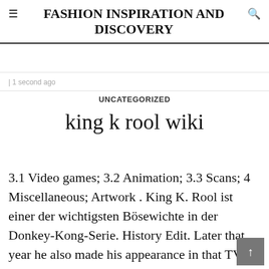FASHION INSPIRATION AND DISCOVERY
| 1 second ago
UNCATEGORIZED
king k rool wiki
3.1 Video games; 3.2 Animation; 3.3 Scans; 4 Miscellaneous; Artwork . King K. Rool ist einer der wichtigsten Bösewichte in der Donkey-Kong-Serie. History Edit. Later that year he also made his appearance in that TV to help Mi